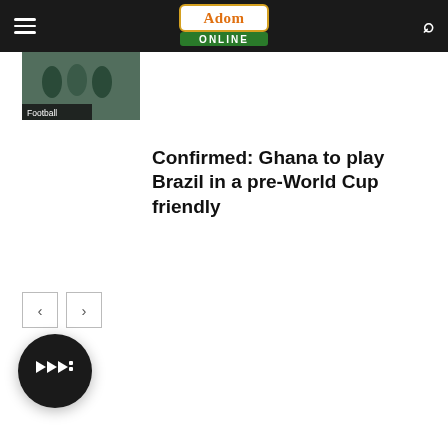Adom Online
[Figure (screenshot): Partial article thumbnail with Football badge label, top of page]
[Figure (photo): Ghana football team photo with Football badge label]
Confirmed: Ghana to play Brazil in a pre-World Cup friendly
[Figure (other): Pagination buttons: left arrow and right arrow]
[Figure (other): Audio/play button - dark circular button with play icon]